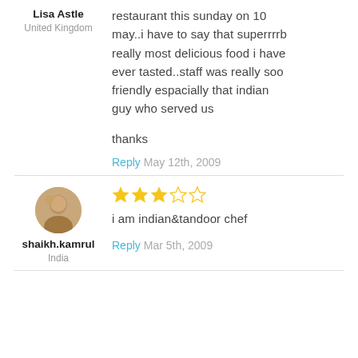Lisa Astle
United Kingdom
restaurant this sunday on 10 may..i have to say that superrrrb really most delicious food i have ever tasted..staff was really soo friendly espacially that indian guy who served us

thanks
Reply May 12th, 2009
shaikh.kamrul
India
[Figure (other): 3 filled gold stars and 2 empty stars (3 out of 5 rating)]
i am indian&tandoor chef
Reply Mar 5th, 2009